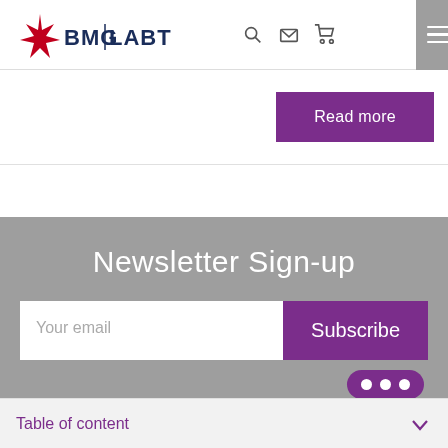BMG LABTECH
Read more
Newsletter Sign-up
Your email | Subscribe
Table of content